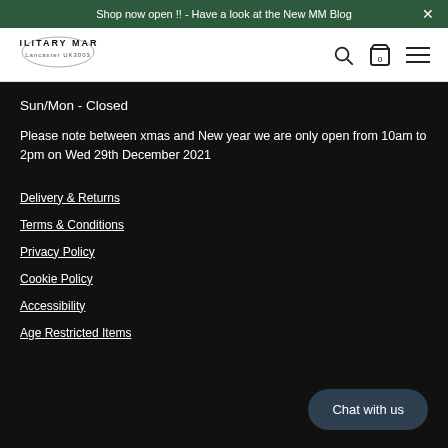Shop now open !! - Have a look at the New MM Blog
[Figure (logo): Military Mart logo with arched text]
Sun/Mon - Closed
Please note between xmas and New year we are only open from 10am to 2pm on Wed 29th December 2021
Delivery & Returns
Terms & Conditions
Privacy Policy
Cookie Policy
Accessibility
Age Restricted Items